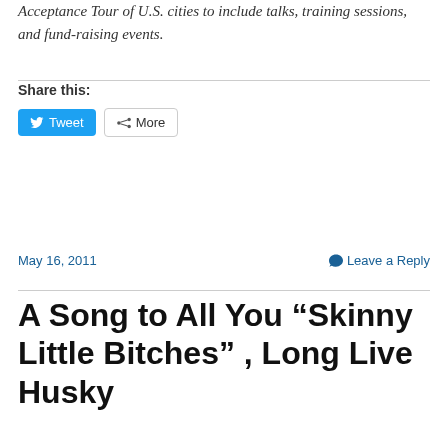Acceptance Tour of U.S. cities to include talks, training sessions, and fund-raising events.
Share this:
[Figure (other): Tweet and More share buttons]
May 16, 2011
Leave a Reply
A Song to All You “Skinny Little Bitches” , Long Live Husky